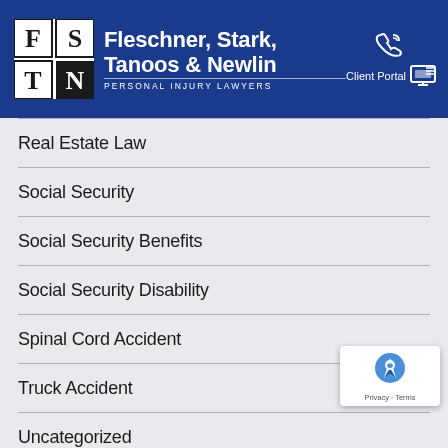[Figure (logo): Fleschner, Stark, Tanoos & Newlin Personal Injury Lawyers logo with FSTN grid logo mark and firm name in white on blue background with phone icon and Client Portal link]
Real Estate Law
Social Security
Social Security Benefits
Social Security Disability
Spinal Cord Accident
Truck Accident
Uncategorized
Veterans Disability